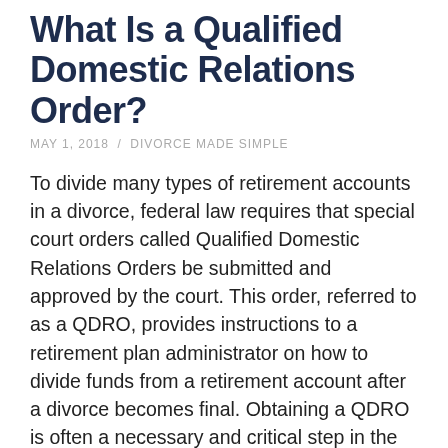What Is a Qualified Domestic Relations Order?
MAY 1, 2018  /  DIVORCE MADE SIMPLE
To divide many types of retirement accounts in a divorce, federal law requires that special court orders called Qualified Domestic Relations Orders be submitted and approved by the court. This order, referred to as a QDRO, provides instructions to a retirement plan administrator on how to divide funds from a retirement account after a divorce becomes final. Obtaining a QDRO is often a necessary and critical step in the divorce process. What types of retirement accounts need a QDRO to